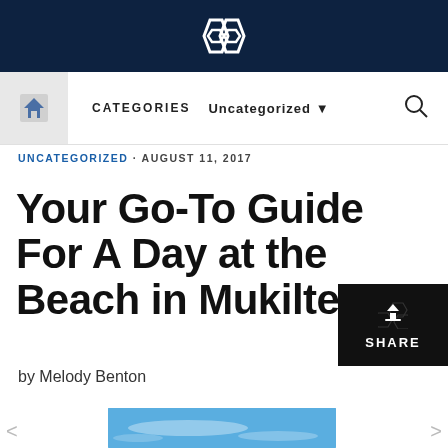Site logo / header icon (chain link diamond logo)
CATEGORIES   Uncategorized ▼
UNCATEGORIZED · AUGUST 11, 2017
Your Go-To Guide For A Day at the Beach in Mukilteo
by Melody Benton
[Figure (photo): Blue sky with wispy clouds, beach photo at bottom of page]
[Figure (infographic): SHARE button overlay with honeycomb/hexagon pattern background and upload icon]